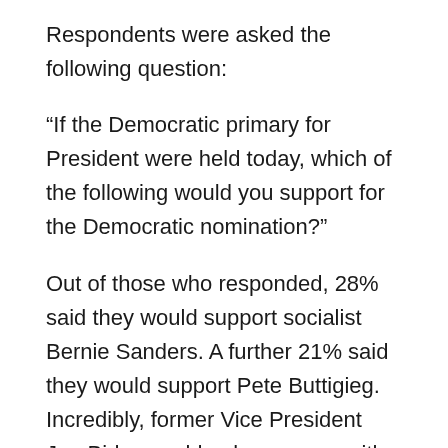Respondents were asked the following question:
“If the Democratic primary for President were held today, which of the following would you support for the Democratic nomination?”
Out of those who responded, 28% said they would support socialist Bernie Sanders. A further 21% said they would support Pete Buttigieg. Incredibly, former Vice President Joe Biden could only come up with 11%, and Elizabeth Warren even less at 9%.
It is quite a different story than many were